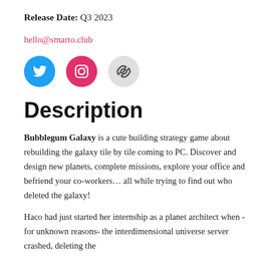Release Date: Q3 2023
hello@smarto.club
[Figure (illustration): Three circular social media / link icons in a row: Twitter (blue circle with white bird), Instagram (pink circle with white camera icon), and a chain-link icon (light gray circle with dark chain link).]
Description
Bubblegum Galaxy is a cute building strategy game about rebuilding the galaxy tile by tile coming to PC. Discover and design new planets, complete missions, explore your office and befriend your co-workers… all while trying to find out who deleted the galaxy!
Haco had just started her internship as a planet architect when -for unknown reasons- the interdimensional universe server crashed, deleting the